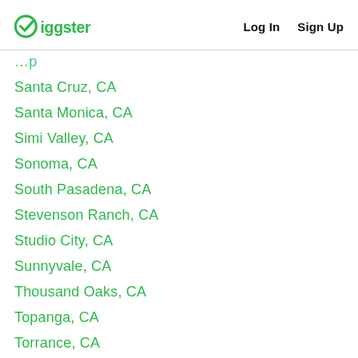Giggster  Log In  Sign Up
Santa Cruz, CA
Santa Monica, CA
Simi Valley, CA
Sonoma, CA
South Pasadena, CA
Stevenson Ranch, CA
Studio City, CA
Sunnyvale, CA
Thousand Oaks, CA
Topanga, CA
Torrance, CA
Twentynine Palms, CA